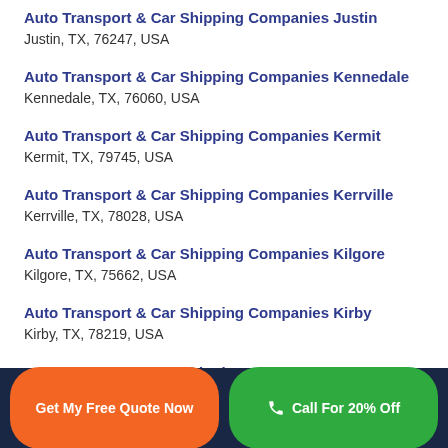Auto Transport & Car Shipping Companies Justin
Justin, TX, 76247, USA
Auto Transport & Car Shipping Companies Kennedale
Kennedale, TX, 76060, USA
Auto Transport & Car Shipping Companies Kermit
Kermit, TX, 79745, USA
Auto Transport & Car Shipping Companies Kerrville
Kerrville, TX, 78028, USA
Auto Transport & Car Shipping Companies Kilgore
Kilgore, TX, 75662, USA
Auto Transport & Car Shipping Companies Kirby
Kirby, TX, 78219, USA
Auto Transport & Car Shipping Companies La Feria
Get My Free Quote Now | Call For 20% Off